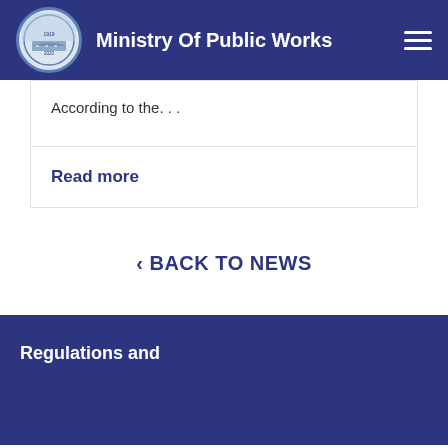Ministry Of Public Works
According to the. . .
Read more
‹ BACK TO NEWS
Regulations and